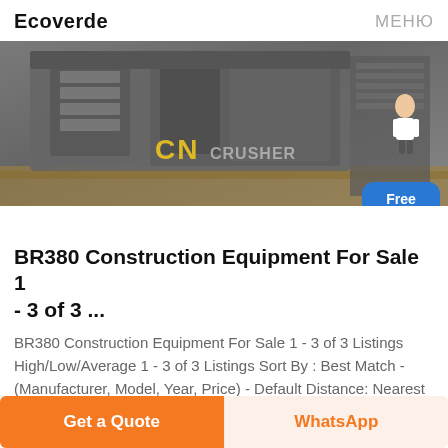Ecoverde   МЕНЮ
[Figure (photo): Photo of a BR380 construction/crusher machine (heavy grey industrial equipment) on a wooden pallet, with CN CRUSHER watermark logo visible in yellow on the image, and a small person figure in the corner. A blue 'Free chat' button overlays the bottom-right of the image.]
BR380 Construction Equipment For Sale 1 - 3 of 3 ...
BR380 Construction Equipment For Sale 1 - 3 of 3 Listings High/Low/Average 1 - 3 of 3 Listings Sort By : Best Match - (Manufacturer, Model, Year, Price) - Default Distance: Nearest Price: Low to High Price: High to Low Year: Low to High Year:
Get a Quote   WhatsApp